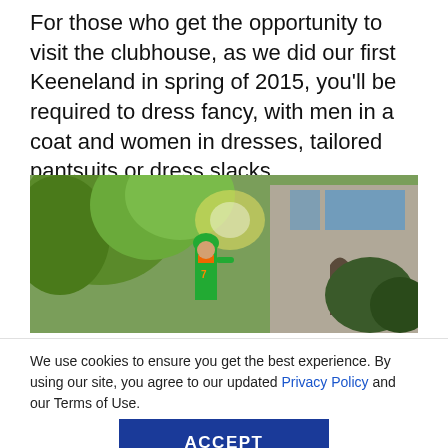For those who get the opportunity to visit the clubhouse, as we did our first Keeneland in spring of 2015, you’ll be required to dress fancy, with men in a coat and women in dresses, tailored pantsuits or dress slacks.
[Figure (photo): A jockey in green and orange silks with a green helmet stands outside a stone building with large windows, surrounded by green trees on a sunny day.]
We use cookies to ensure you get the best experience. By using our site, you agree to our updated Privacy Policy and our Terms of Use.
ACCEPT